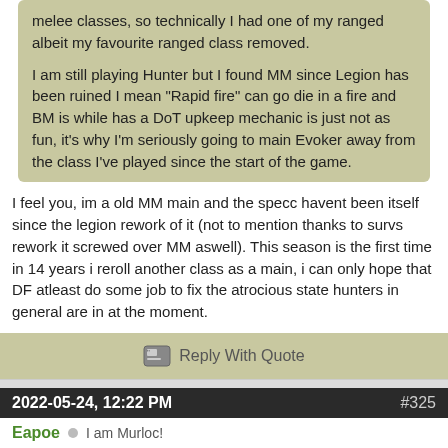melee classes, so technically I had one of my ranged albeit my favourite ranged class removed.

I am still playing Hunter but I found MM since Legion has been ruined I mean "Rapid fire" can go die in a fire and BM is while has a DoT upkeep mechanic is just not as fun, it's why I'm seriously going to main Evoker away from the class I've played since the start of the game.
I feel you, im a old MM main and the specc havent been itself since the legion rework of it (not to mention thanks to survs rework it screwed over MM aswell). This season is the first time in 14 years i reroll another class as a main, i can only hope that DF atleast do some job to fix the atrocious state hunters in general are in at the moment.
Reply With Quote
2022-05-24, 12:22 PM
#325
Eapoe  I am Murloc!
Originally Posted by threadz
ironically there's still more BM and MM parses than SV. even with BM being an extremely bad spec this patch lol.
There's more BM parses than Arms, Outlaw, Windwalker, Feral, Ret, Unholy, Assassination, Enhancement, and Frost in mythi... Click Me!